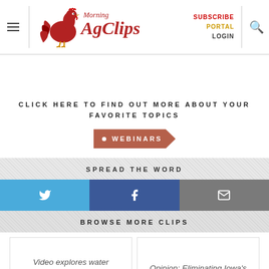Morning AgClips — SUBSCRIBE PORTAL LOGIN
CLICK HERE TO FIND OUT MORE ABOUT YOUR FAVORITE TOPICS
WEBINARS
SPREAD THE WORD
Twitter share button
Facebook share button
Email share button
BROWSE MORE CLIPS
Video explores water quality's impact on cover crops
Opinion: Eliminating Iowa's farmland preservation tax